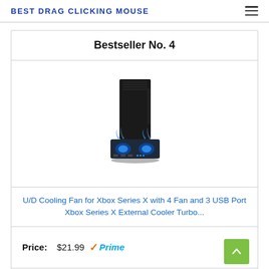BEST DRAG CLICKING MOUSE
Bestseller No. 4
[Figure (photo): Product photo of U/D Cooling Fan for Xbox Series X — a tall black rectangular console cooler sitting on a blue-lit fan base with visible blue LED fans underneath]
U/D Cooling Fan for Xbox Series X with 4 Fan and 3 USB Port Xbox Series X External Cooler Turbo...
Price: $21.99 √Prime